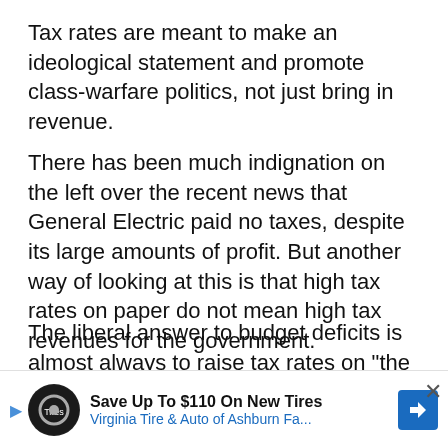Tax rates are meant to make an ideological statement and promote class-warfare politics, not just bring in revenue.
There has been much indignation on the left over the recent news that General Electric paid no taxes, despite its large amounts of profit. But another way of looking at this is that high tax rates on paper do not mean high tax revenues for the government.
The liberal answer to budget deficits is almost always to raise tax rates on "the rich," in order to bring in more revenue. The fact that higher tax rates have often brought in less revenue than before is
[Figure (other): Advertisement banner: Save Up To $110 On New Tires - Virginia Tire & Auto of Ashburn Fa... with logo and directional arrow icon]
Our corporate tax rates are higher than in many